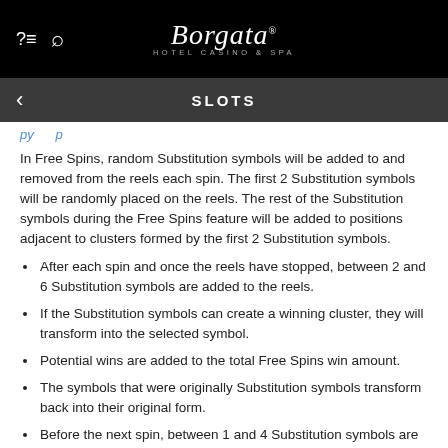Borgata Hotel Casino & Spa — SLOTS
In Free Spins, random Substitution symbols will be added to and removed from the reels each spin. The first 2 Substitution symbols will be randomly placed on the reels. The rest of the Substitution symbols during the Free Spins feature will be added to positions adjacent to clusters formed by the first 2 Substitution symbols.
After each spin and once the reels have stopped, between 2 and 6 Substitution symbols are added to the reels.
If the Substitution symbols can create a winning cluster, they will transform into the selected symbol.
Potential wins are added to the total Free Spins win amount.
The symbols that were originally Substitution symbols transform back into their original form.
Before the next spin, between 1 and 4 Substitution symbols are removed from the reels, from random positions. A minimum of 2 Substitution symbols will always remain on the reels between spins.